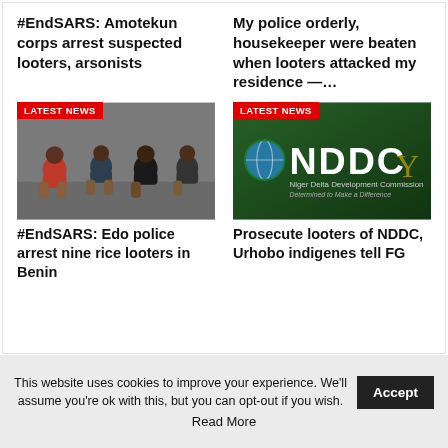#EndSARS: Amotekun corps arrest suspected looters, arsonists
My police orderly, housekeeper were beaten when looters attacked my residence —…
[Figure (photo): Group of crouching arrested suspects on the ground, police arrest scene]
[Figure (logo): NDDC Niger Delta Development Commission logo on dark green background with tagline 'Determined to Make a Difference']
#EndSARS: Edo police arrest nine rice looters in Benin
Prosecute looters of NDDC, Urhobo indigenes tell FG
This website uses cookies to improve your experience. We'll assume you're ok with this, but you can opt-out if you wish. Accept Read More